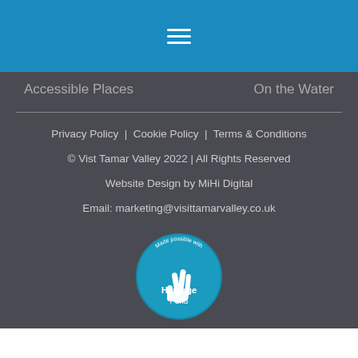[Figure (other): Blue navigation bar with hamburger menu icon (three white horizontal lines)]
Accessible Places
On the Water
Privacy Policy | Cookie Policy | Terms & Conditions
© Vist Tamar Valley 2022 | All Rights Reserved
Website Design by MiHi Digital
Email: marketing@visittamarvalley.co.uk
[Figure (logo): Heritage Fund circular logo — teal circle with crossed fingers icon and text 'Made possible with Heritage Fund']